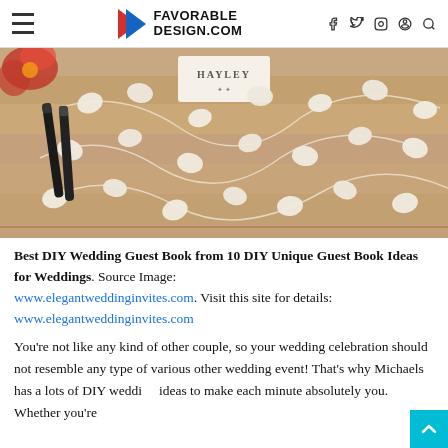FAVORABLE DESIGN.COM
[Figure (photo): A rustic wooden board with white leaf-shaped tags arranged along winding strings, with a label reading 'HAYLEY' at top, and two black markers on the left side. A DIY wedding guest book.]
Best DIY Wedding Guest Book from 10 DIY Unique Guest Book Ideas for Weddings. Source Image: www.elegantweddinginvites.com. Visit this site for details: www.elegantweddinginvites.com
You're not like any kind of other couple, so your wedding celebration should not resemble any type of various other wedding event! That's why Michaels has a lots of DIY wedding ideas to make each minute absolutely you. Whether you're